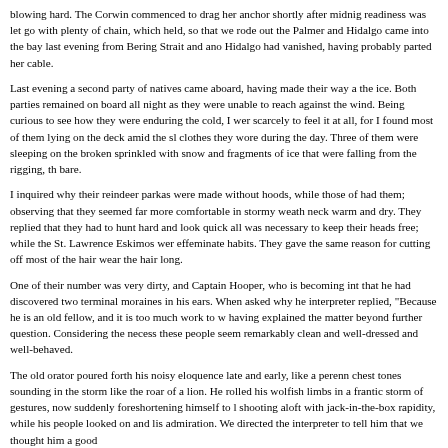blowing hard. The Corwin commenced to drag her anchor shortly after midnight; readiness was let go with plenty of chain, which held, so that we rode out the Palmer and Hidalgo came into the bay last evening from Bering Strait and ano Hidalgo had vanished, having probably parted her cable.
Last evening a second party of natives came aboard, having made their way a the ice. Both parties remained on board all night as they were unable to reach against the wind. Being curious to see how they were enduring the cold, I wer scarcely to feel it at all, for I found most of them lying on the deck amid the slu clothes they wore during the day. Three of them were sleeping on the broken sprinkled with snow and fragments of ice that were falling from the rigging, the bare.
I inquired why their reindeer parkas were made without hoods, while those of had them; observing that they seemed far more comfortable in stormy weathe neck warm and dry. They replied that they had to hunt hard and look quick all was necessary to keep their heads free; while the St. Lawrence Eskimos were effeminate habits. They gave the same reason for cutting off most of the hair o wear the hair long.
One of their number was very dirty, and Captain Hooper, who is becoming inte that he had discovered two terminal moraines in his ears. When asked why he interpreter replied, "Because he is an old fellow, and it is too much work to wa having explained the matter beyond further question. Considering the necessi these people seem remarkably clean and well-dressed and well-behaved.
The old orator poured forth his noisy eloquence late and early, like a perennia chest tones sounding in the storm like the roar of a lion. He rolled his wolfish e limbs in a frantic storm of gestures, now suddenly foreshortening himself to le shooting aloft with jack-in-the-box rapidity, while his people looked on and liste admiration. We directed the interpreter to tell him that we thought him a good